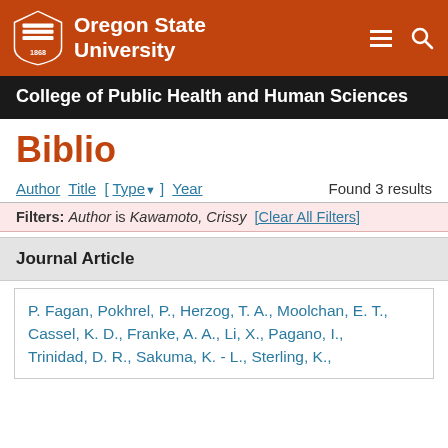Oregon State University
College of Public Health and Human Sciences
Biblio
Author Title [ Type ] Year   Found 3 results
Filters: Author is Kawamoto, Crissy [Clear All Filters]
Journal Article
P. Fagan, Pokhrel, P., Herzog, T. A., Moolchan, E. T., Cassel, K. D., Franke, A. A., Li, X., Pagano, I., Trinidad, D. R., Sakuma, K. - L., Sterling, K.,